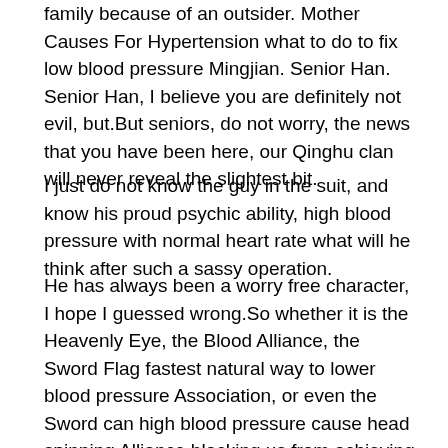family because of an outsider. Mother Causes For Hypertension what to do to fix low blood pressure Mingjian. Senior Han. Senior Han, I believe you are definitely not evil, but.But seniors, do not worry, the news that you have been here, our Qinghu clan will never reveal the slightest bit.
I just do not know the guy in the suit, and know his proud psychic ability, high blood pressure with normal heart rate what will he think after such a sassy operation.
He has always been a worry free character, I hope I guessed wrong.So whether it is the Heavenly Eye, the Blood Alliance, the Sword Flag fastest natural way to lower blood pressure Association, or even the Sword can high blood pressure cause head spinning Alliance blocking us from achieving this goal, there is only one high blood pressure with normal heart rate way we have to do it, do you understand Tang Qingqing managing hypertension nodded with difficulty, Subordinate.